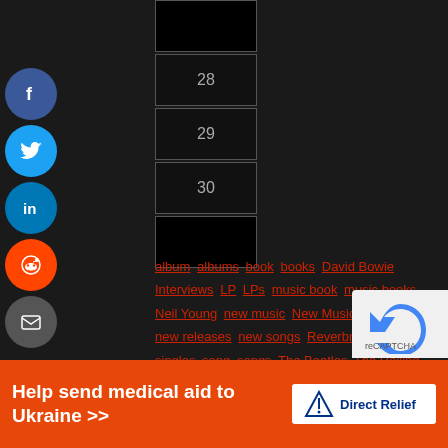[Figure (other): Calendar cells showing dates 28, 29, 30 and a black cell]
« Aug
album albums book books David Bowie Interviews LP LPs music book music books Neil Young new music New Music Friday new releases new songs Reverbnation singles song songs The Beatles The Rolling Stones updates vinyl
Categories
Select Category
Archives
Select Month
[Figure (other): Help send medical aid to Ukraine banner ad with Direct Relief logo]
[Figure (other): Partial reCAPTCHA widget]